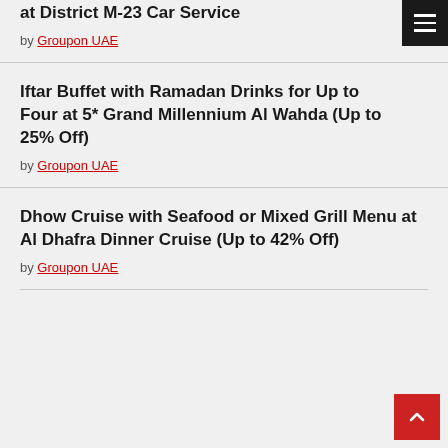at District M-23 Car Service
by Groupon UAE
Iftar Buffet with Ramadan Drinks for Up to Four at 5* Grand Millennium Al Wahda (Up to 25% Off)
by Groupon UAE
Dhow Cruise with Seafood or Mixed Grill Menu at Al Dhafra Dinner Cruise (Up to 42% Off)
by Groupon UAE